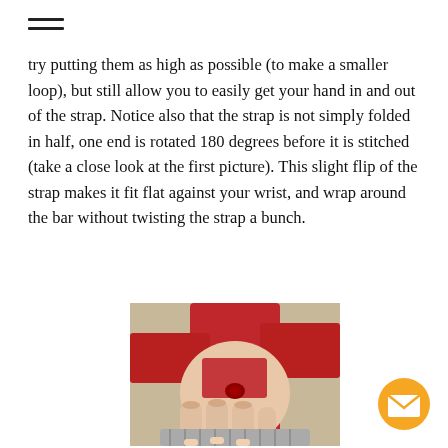try putting them as high as possible (to make a smaller loop), but still allow you to easily get your hand in and out of the strap. Notice also that the strap is not simply folded in half, one end is rotated 180 degrees before it is stitched (take a close look at the first picture). This slight flip of the strap makes it fit flat against your wrist, and wrap around the bar without twisting the strap a bunch.
[Figure (photo): A hand gripping a red weightlifting wrist strap wrapped around a barbell, showing how the strap fits against the wrist.]
[Figure (other): Orange circular email/contact button with envelope icon in the bottom-right corner.]